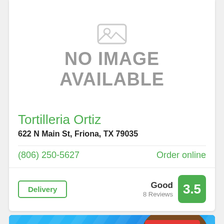[Figure (illustration): No image available placeholder with grey icon and text]
Tortilleria Ortiz
622 N Main St, Friona, TX 79035
(806) 250-5627
Order online
Delivery
Good
8 Reviews
3.5
[Figure (photo): Advertisement banner showing a smiling fast food worker with text 'Job? FAST FOOD • $' and 'Now' in red letters on a blue background]